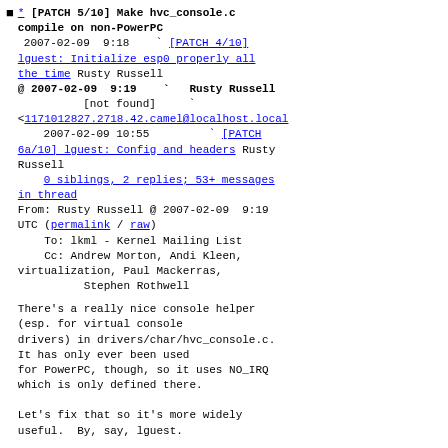* [PATCH 5/10] Make hvc_console.c compile on non-PowerPC
2007-02-09 9:18 ` [PATCH 4/10] lguest: Initialize esp0 properly all the time Rusty Russell
@ 2007-02-09 9:19 ` Rusty Russell
[not found] `
<1171012827.2718.42.camel@localhost.local
2007-02-09 10:55 ` [PATCH 6a/10] lguest: Config and headers Rusty Russell
0 siblings, 2 replies; 53+ messages in thread
From: Rusty Russell @ 2007-02-09 9:19 UTC (permalink / raw)
To: lkml - Kernel Mailing List
Cc: Andrew Morton, Andi Kleen, virtualization, Paul Mackerras, Stephen Rothwell

There's a really nice console helper (esp. for virtual console drivers) in drivers/char/hvc_console.c. It has only ever been used for PowerPC, though, so it uses NO_IRQ which is only defined there.

Let's fix that so it's more widely useful. By, say, lguest.